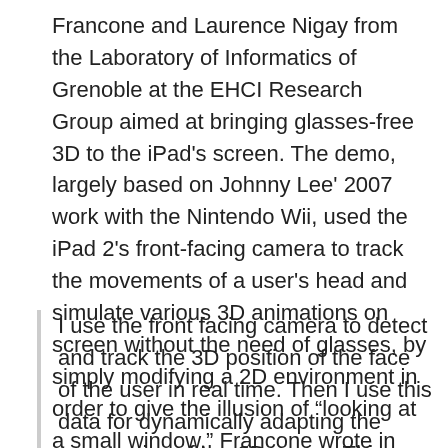Francone and Laurence Nigay from the Laboratory of Informatics of Grenoble at the EHCI Research Group aimed at bringing glasses-free 3D to the iPad's screen. The demo, largely based on Johnny Lee' 2007 work with the Nintendo Wii, used the iPad 2's front-facing camera to track the movements of a user's head and simulate various 3D animations on screen without the need of glasses, by simply modifying a 2D environment in order to give the illusion of “looking at a small window.” Francone wrote in April:
I use the front facing camera to detect and track the 3D position of the face of the user in real time. Then I use this data for dynamically adapting the perspective of the 3D scene. This Head-Coupled Perspective system gives the